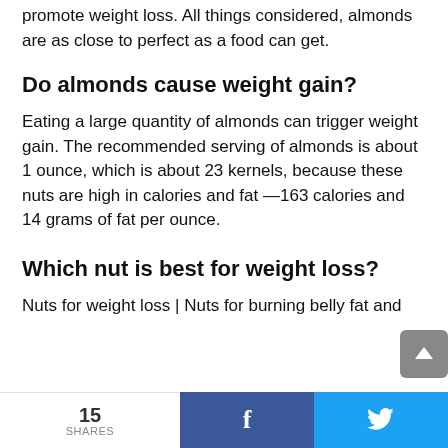promote weight loss. All things considered, almonds are as close to perfect as a food can get.
Do almonds cause weight gain?
Eating a large quantity of almonds can trigger weight gain. The recommended serving of almonds is about 1 ounce, which is about 23 kernels, because these nuts are high in calories and fat —163 calories and 14 grams of fat per ounce.
Which nut is best for weight loss?
Nuts for weight loss | Nuts for burning belly fat and
15 SHARES  f  🐦